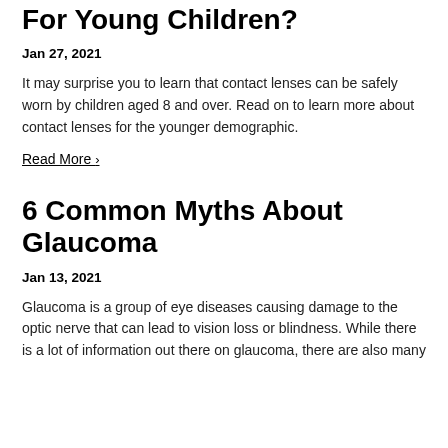For Young Children?
Jan 27, 2021
It may surprise you to learn that contact lenses can be safely worn by children aged 8 and over. Read on to learn more about contact lenses for the younger demographic.
Read More ›
6 Common Myths About Glaucoma
Jan 13, 2021
Glaucoma is a group of eye diseases causing damage to the optic nerve that can lead to vision loss or blindness. While there is a lot of information out there on glaucoma, there are also many